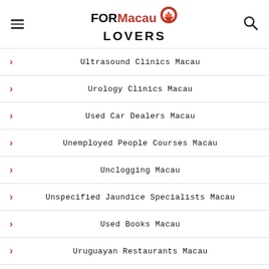FORMacau LOVERS
Ultrasound Clinics Macau
Urology Clinics Macau
Used Car Dealers Macau
Unemployed People Courses Macau
Unclogging Macau
Unspecified Jaundice Specialists Macau
Used Books Macau
Uruguayan Restaurants Macau
Urine Test Macau